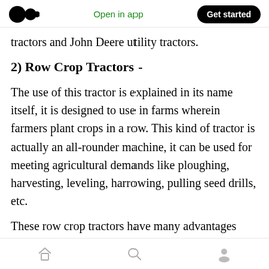Open in app | Get started
tractors and John Deere utility tractors.
2) Row Crop Tractors -
The use of this tractor is explained in its name itself, it is designed to use in farms wherein farmers plant crops in a row. This kind of tractor is actually an all-rounder machine, it can be used for meeting agricultural demands like ploughing, harvesting, leveling, harrowing, pulling seed drills, etc.
These row crop tractors have many advantages like...
Home | Search | Profile